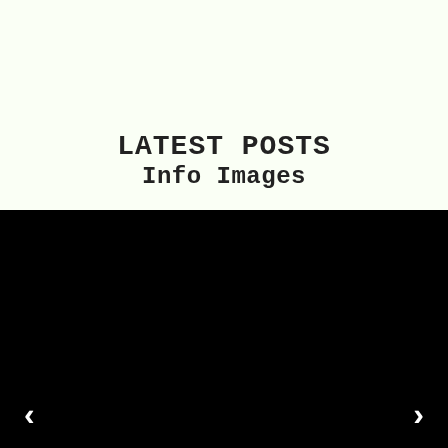LATEST POSTS
Info Images
[Figure (photo): Black image panel with left and right navigation arrows at the bottom corners, serving as a slideshow/carousel for latest posts info images.]